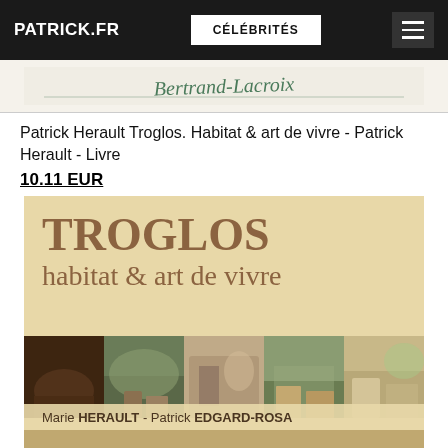PATRICK.FR | CÉLÉBRITÉS
[Figure (photo): Partial view of a handwritten or script-style text on paper, reading 'Bertrand-Lacroix']
Patrick Herault Troglos. Habitat & art de vivre - Patrick Herault - Livre
10.11 EUR
[Figure (photo): Book cover of 'TROGLOS habitat & art de vivre' by Marie HERAULT - Patrick EDGARD-ROSA, with large tan/beige background, brown text for title, and a strip of photographs showing troglodyte homes and landscapes]